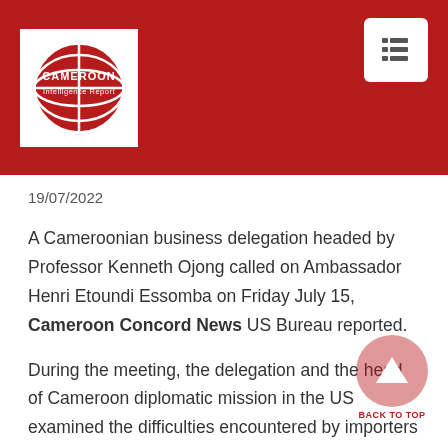Cameroon Intelligence Report
19/07/2022
A Cameroonian business delegation headed by Professor Kenneth Ojong called on Ambassador Henri Etoundi Essomba on Friday July 15, Cameroon Concord News US Bureau reported.
During the meeting, the delegation and the head of Cameroon diplomatic mission in the US examined the difficulties encountered by importers at the port in Douala, the prolonged strike action by clearing agents, hike in import duty, and harassment by custom officials in the port.
Ambassador Etoundi Essomba assured to support the US based Cameroonian business community in their trade and...